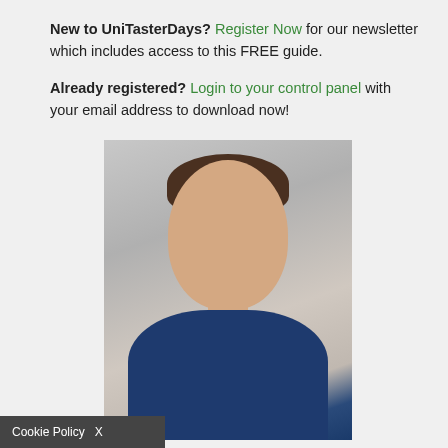New to UniTasterDays? Register Now for our newsletter which includes access to this FREE guide.
Already registered? Login to your control panel with your email address to download now!
[Figure (photo): Headshot photo of a man in a navy blue suit jacket with white shirt, smiling slightly, on a light grey background]
Cookie Policy  X